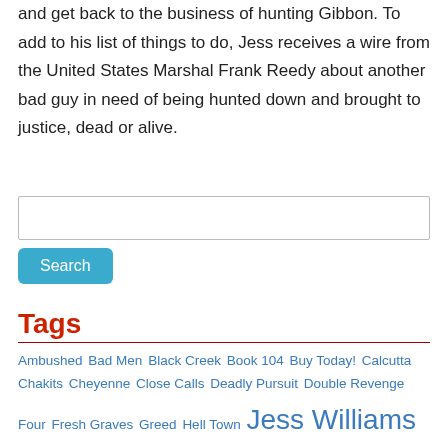and get back to the business of hunting Gibbon. To add to his list of things to do, Jess receives a wire from the United States Marshal Frank Reedy about another bad guy in need of being hunted down and brought to justice, dead or alive.
[Figure (screenshot): Search input box with a teal Search button below it]
Tags
Ambushed  Bad Men  Black Creek  Book 104  Buy Today!  Calcutta  Chakits  Cheyenne  Close Calls  Deadly Pursuit  Double Revenge  Four  Fresh Graves  Greed  Hell Town  Jess Williams  John Smith  Lead Jury  Left For Dead  Long Ride To Justice  Martha  Martha Heller  Mysterious Ways  New Book  New  New Release